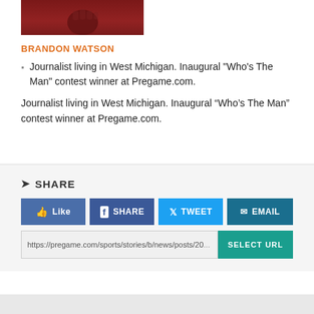[Figure (photo): Cropped photo showing a fist in red/dark background, top portion of a person's image]
BRANDON WATSON
Journalist living in West Michigan. Inaugural "Who's The Man" contest winner at Pregame.com.
Journalist living in West Michigan. Inaugural “Who’s The Man” contest winner at Pregame.com.
SHARE
https://pregame.com/sports/stories/b/news/posts/20...
SELECT URL